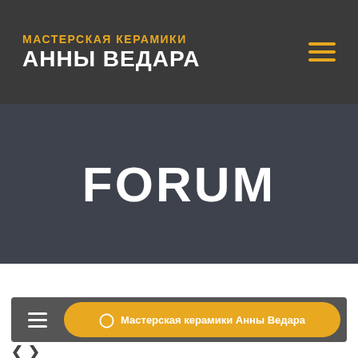МАСТЕРСКАЯ КЕРАМИКИ АННЫ ВЕДАРА
FORUM
[Figure (screenshot): White content area placeholder below forum hero section]
☰  ⊙ Мастерская керамики Анны Ведара